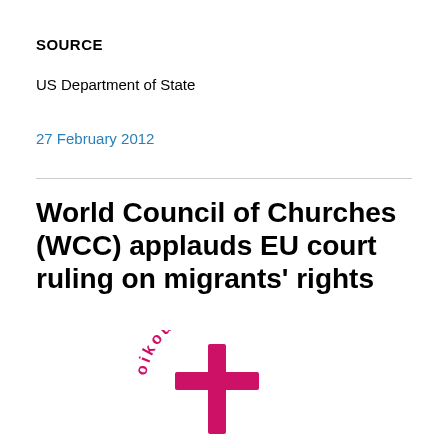SOURCE
US Department of State
27 February 2012
World Council of Churches (WCC) applauds EU court ruling on migrants' rights
[Figure (logo): World Council of Churches (Oikoumene) logo — a cross with circular text 'oikoumene' in magenta/pink]